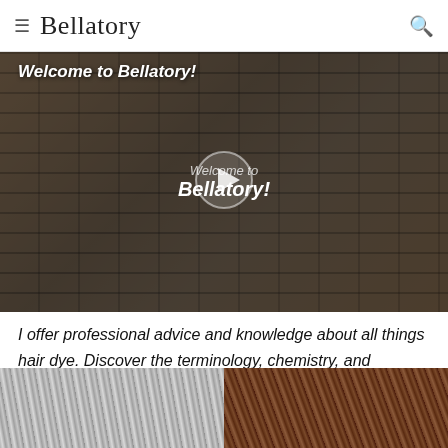≡ Bellatory 🔍
[Figure (screenshot): Video thumbnail showing a hair salon scene with someone having hair dyed, with text overlay 'Welcome to Bellatory!' and a play button in the center]
I offer professional advice and knowledge about all things hair dye. Discover the terminology, chemistry, and processes behind dyeing hair.
[Figure (photo): Two side-by-side hair photos: left shows gray/silver hair strands, right shows brown/brunette hair strands]